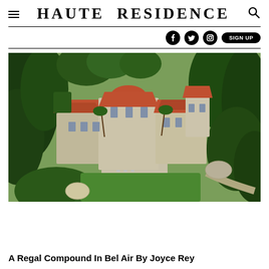Haute Residence
[Figure (photo): Aerial view of a large Mediterranean-style estate compound in Bel Air with terracotta roofs, multiple wings, a rectangular swimming pool, and surrounded by dense green trees and manicured grounds.]
A Regal Compound In Bel Air By Joyce Rey